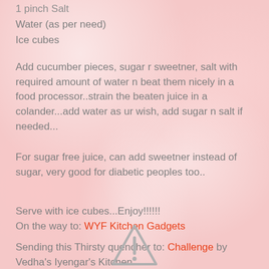1 pinch Salt
Water (as per need)
Ice cubes
Add cucumber pieces, sugar r sweetner, salt with required amount of water n beat them nicely in a food processor..strain the beaten juice in a colander...add water as ur wish, add sugar n salt if needed...
For sugar free juice, can add sweetner instead of sugar, very good for diabetic peoples too..
Serve with ice cubes...Enjoy!!!!!!
On the way to: WYF Kitchen Gadgets
Sending this Thirsty quencher to: Challenge by Vedha's Iyengar's Kitchen
[Figure (illustration): Warning triangle icon at the bottom center of the page]